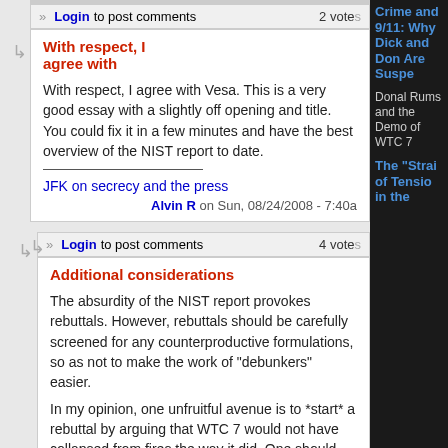Login to post comments   2 votes
With respect, I agree with
With respect, I agree with Vesa. This is a very good essay with a slightly off opening and title. You could fix it in a few minutes and have the best overview of the NIST report to date.
JFK on secrecy and the press
Alvin R on Sun, 08/24/2008 - 7:40a
Login to post comments   4 votes
Additional considerations
The absurdity of the NIST report provokes rebuttals. However, rebuttals should be carefully screened for any counterproductive formulations, so as not to make the work of "debunkers" easier.
In my opinion, one unfruitful avenue is to *start* a rebuttal by arguing that WTC 7 would not have collapsed from fires the way it did. One should begin by
Crime and 9/11: Why Dick and Don Are Suspe
Donald Rumsfe and the Demo of WTC 7
The "Strait of Tensio in the